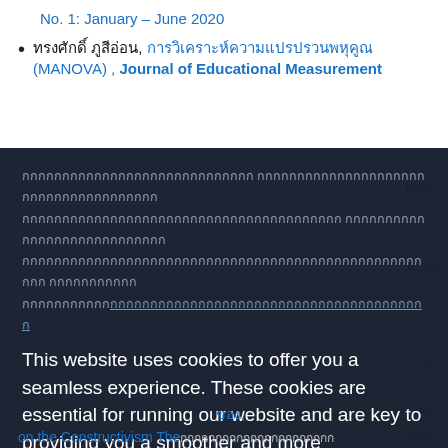No. 1: January - June 2020
ทรงศักดิ์ ภูสีอ่อน, การวิเคราะห์ความแปรปรวนพหุคูณ (MANOVA) , Journal of Educational Measurement
This website uses cookies to offer you a seamless experience. These cookies are essential for running our website and are key to providing you a smoother and more personalized experience. By using our website, you acknowledge that you have read and understand our cookie policy.  Privacy policy
Accept